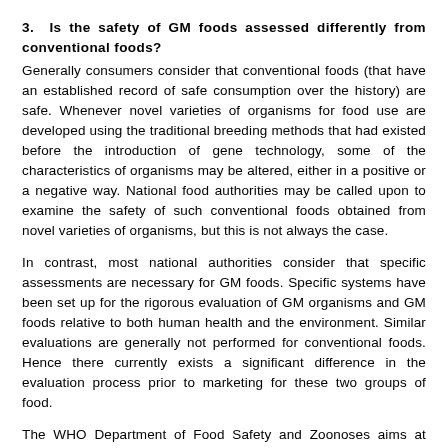3. Is the safety of GM foods assessed differently from conventional foods?
Generally consumers consider that conventional foods (that have an established record of safe consumption over the history) are safe. Whenever novel varieties of organisms for food use are developed using the traditional breeding methods that had existed before the introduction of gene technology, some of the characteristics of organisms may be altered, either in a positive or a negative way. National food authorities may be called upon to examine the safety of such conventional foods obtained from novel varieties of organisms, but this is not always the case.
In contrast, most national authorities consider that specific assessments are necessary for GM foods. Specific systems have been set up for the rigorous evaluation of GM organisms and GM foods relative to both human health and the environment. Similar evaluations are generally not performed for conventional foods. Hence there currently exists a significant difference in the evaluation process prior to marketing for these two groups of food.
The WHO Department of Food Safety and Zoonoses aims at assisting